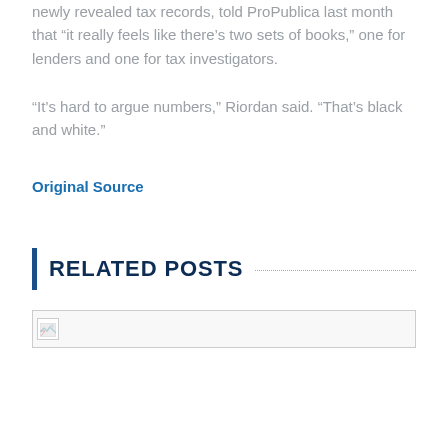newly revealed tax records, told ProPublica last month that “it really feels like there’s two sets of books,” one for lenders and one for tax investigators.
“It’s hard to argue numbers,” Riordan said. “That’s black and white.”
Original Source
RELATED POSTS
[Figure (photo): Broken image placeholder for a related post thumbnail]